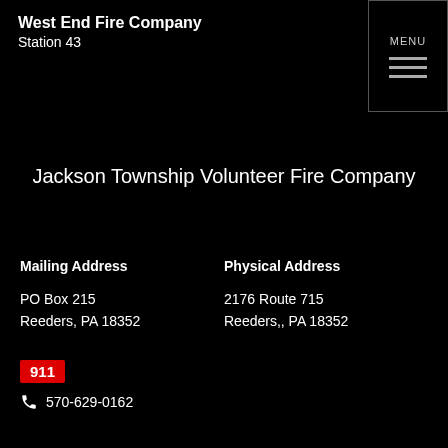West End Fire Company
Station 43
Jackson Township Volunteer Fire Company
Mailing Address
PO Box 215
Reeders, PA 18352
Physical Address
2176 Route 715
Reeders,, PA 18352
911
570-629-0162
[Figure (logo): 70th Anniversary logo for Jackson Township Volunteer Fire Company — circular emblem with '70' in large grey numerals and a firefighter badge in the center, red banner reading 'ANNIVERSARY' at the bottom]
This site has been viewed 254,113 times.